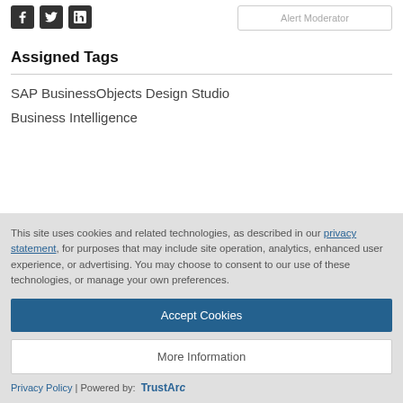[Figure (other): Social media icons: Facebook, Twitter, LinkedIn]
Assigned Tags
SAP BusinessObjects Design Studio
Business Intelligence
This site uses cookies and related technologies, as described in our privacy statement, for purposes that may include site operation, analytics, enhanced user experience, or advertising. You may choose to consent to our use of these technologies, or manage your own preferences.
Accept Cookies
More Information
Privacy Policy | Powered by: TrustArc